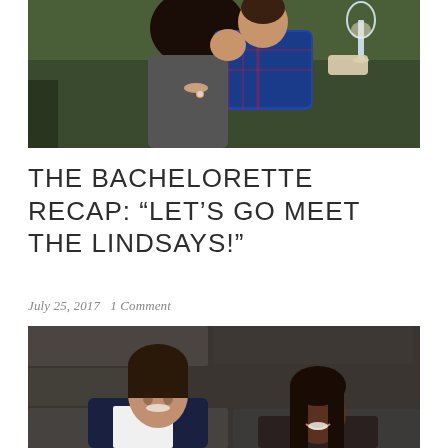[Figure (photo): Two people kissing and embracing outdoors, one holding a wine glass, with greenery and a fence in the background.]
THE BACHELORETTE RECAP: “LET’S GO MEET THE LINDSAYS!”
July 25, 2017   1 Comment
[Figure (photo): A man and a woman smiling, photographed at close range with a stone wall in the background.]